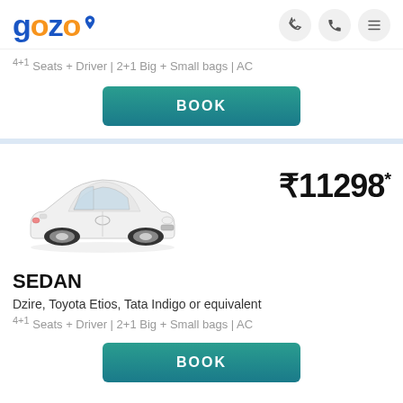[Figure (logo): Gozo logo with blue and orange text and location pin icon, plus three header icons (lightning bolt, phone, hamburger menu) on the right]
4+1 Seats + Driver | 2+1 Big + Small bags | AC
BOOK
[Figure (photo): White Toyota Etios sedan car image facing right]
₹11298*
SEDAN
Dzire, Toyota Etios, Tata Indigo or equivalent
4+1 Seats + Driver | 2+1 Big + Small bags | AC
BOOK